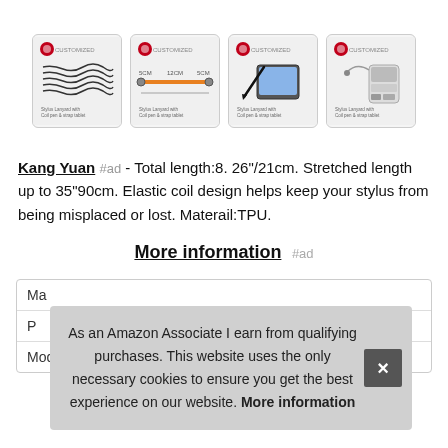[Figure (photo): Four product images of stylus lanyards with coil, pen and strap for tablet, shown in a row with rounded-corner boxes]
Kang Yuan #ad - Total length:8. 26"/21cm. Stretched length up to 35"90cm. Elastic coil design helps keep your stylus from being misplaced or lost. Materail:TPU.
More information #ad
| Ma |  |
| P |  |
| Model | KH013 |
As an Amazon Associate I earn from qualifying purchases. This website uses the only necessary cookies to ensure you get the best experience on our website. More information